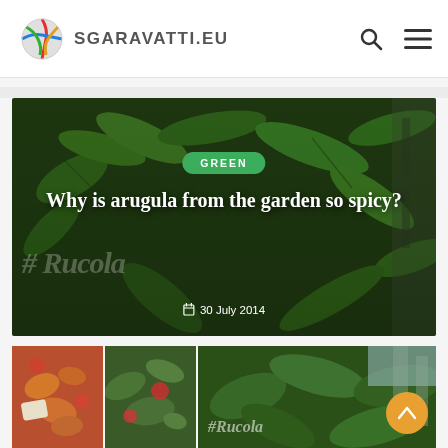SGARAVATTI.EU
[Figure (screenshot): Hero blog post image showing arugula plants from close-up with dark green background, a green pill-shaped tag reading GREEN, white bold serif title 'Why is arugula from the garden so spicy?', a large watermark hashtag Rucola, and a date '30 July 2014'.]
[Figure (photo): Thumbnail of pasta salad with feta and tomatoes]
[Figure (photo): Thumbnail of green salad with tomatoes]
[Figure (photo): Thumbnail of arugula plants with #Rucola watermark text]